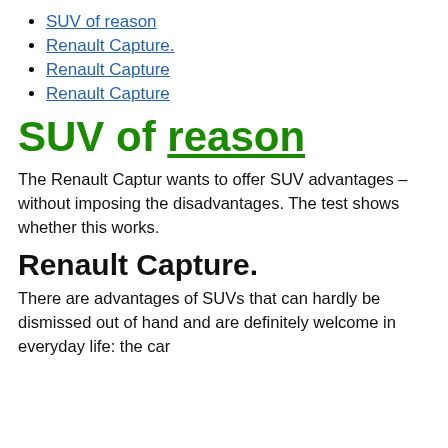SUV of reason
Renault Capture.
Renault Capture
Renault Capture
SUV of reason
The Renault Captur wants to offer SUV advantages – without imposing the disadvantages. The test shows whether this works.
Renault Capture.
There are advantages of SUVs that can hardly be dismissed out of hand and are definitely welcome in everyday life: the car